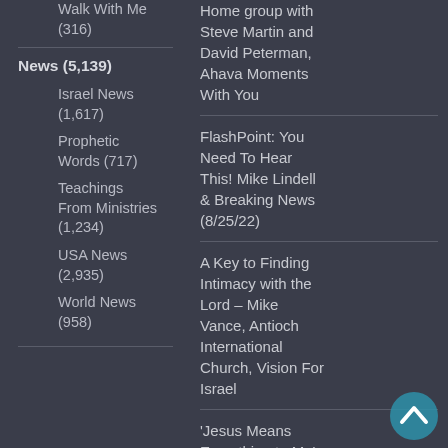Walk With Me (316)
News (5,139)
Israel News (1,617)
Prophetic Words (717)
Teachings From Ministries (1,234)
USA News (2,935)
World News (958)
Home group with Steve Martin and David Peterman, Ahava Moments With You
FlashPoint: You Need To Hear This! Mike Lindell & Breaking News (8/25/22)
A Key to Finding Intimacy with the Lord – Mike Vance, Antioch International Church, Vision For Israel
'Jesus Means Everything to Me': These US Marines